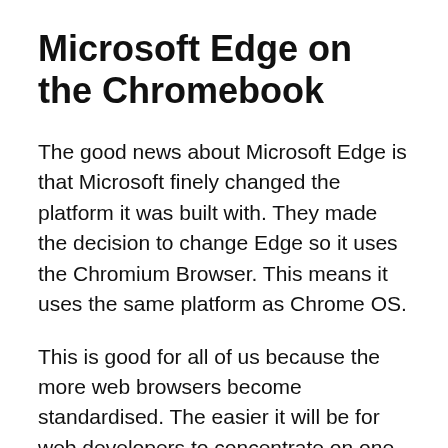Microsoft Edge on the Chromebook
The good news about Microsoft Edge is that Microsoft finely changed the platform it was built with. They made the decision to change Edge so it uses the Chromium Browser. This means it uses the same platform as Chrome OS.
This is good for all of us because the more web browsers become standardised. The easier it will be for web developers to concentrate on one specific browser type.